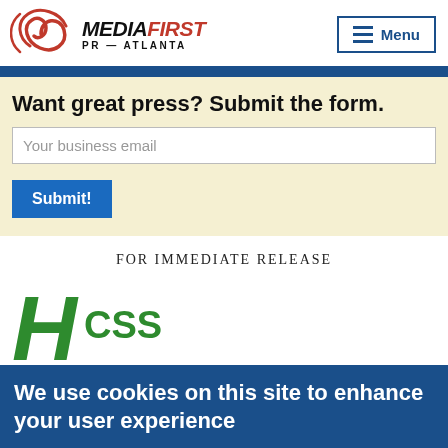MediaFirst PR – Atlanta | Menu
Want great press? Submit the form.
Your business email
Submit!
FOR IMMEDIATE RELEASE
[Figure (logo): HCSS logo — green stylized H with CSS letters]
We use cookies on this site to enhance your user experience